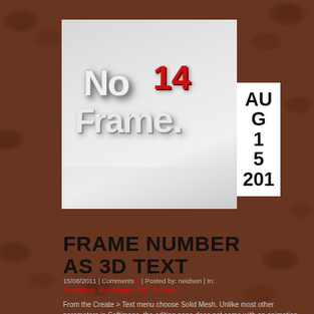[Figure (photo): 3D rendered text showing 'No 14 Frame' logo in white and red on gray background with reflection, alongside a white date box showing AUG 15 2011]
FRAME NUMBER AS 3D TEXT
15/08/2011 | Comments 0 | Posted by: neidsen | In:
Scripting  Softimage XSI  Tutorial
From the Create > Text menu choose Solid Mesh. Unlike most other parameters in Softimage, the editing pane does not come with an animation